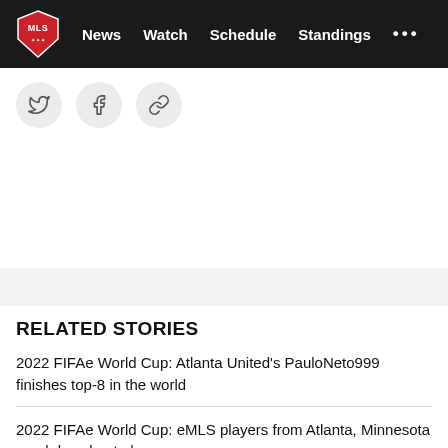MLS — News | Watch | Schedule | Standings
[Figure (logo): MLS logo shield in red and white]
[Figure (infographic): Social sharing icons: Twitter, Facebook, Link/chain]
RELATED STORIES
2022 FIFAe World Cup: Atlanta United's PauloNeto999 finishes top-8 in the world
2022 FIFAe World Cup: eMLS players from Atlanta, Minnesota reach knockout phase